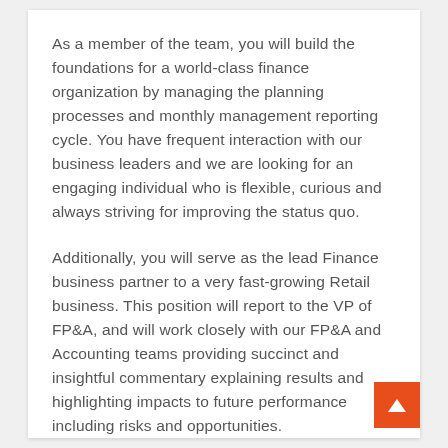As a member of the team, you will build the foundations for a world-class finance organization by managing the planning processes and monthly management reporting cycle. You have frequent interaction with our business leaders and we are looking for an engaging individual who is flexible, curious and always striving for improving the status quo.
Additionally, you will serve as the lead Finance business partner to a very fast-growing Retail business. This position will report to the VP of FP&A, and will work closely with our FP&A and Accounting teams providing succinct and insightful commentary explaining results and highlighting impacts to future performance including risks and opportunities.